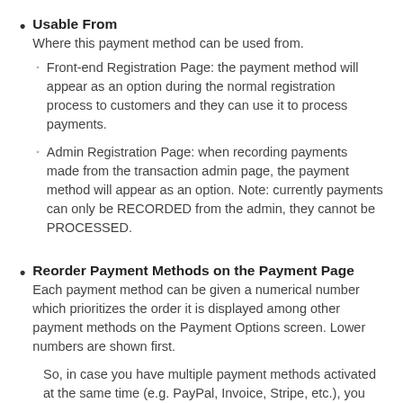Usable From
Where this payment method can be used from.
• Front-end Registration Page: the payment method will appear as an option during the normal registration process to customers and they can use it to process payments.
• Admin Registration Page: when recording payments made from the transaction admin page, the payment method will appear as an option. Note: currently payments can only be RECORDED from the admin, they cannot be PROCESSED.
Reorder Payment Methods on the Payment Page
Each payment method can be given a numerical number which prioritizes the order it is displayed among other payment methods on the Payment Options screen. Lower numbers are shown first.
So, in case you have multiple payment methods activated at the same time (e.g. PayPal, Invoice, Stripe, etc.), you can